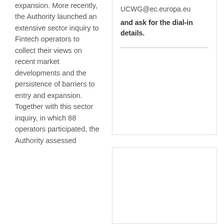expansion. More recently, the Authority launched an extensive sector inquiry to Fintech operators to collect their views on recent market developments and the persistence of barriers to entry and expansion. Together with this sector inquiry, in which 88 operators participated, the Authority assessed
UCWG@ec.europa.eu and ask for the dial-in details.